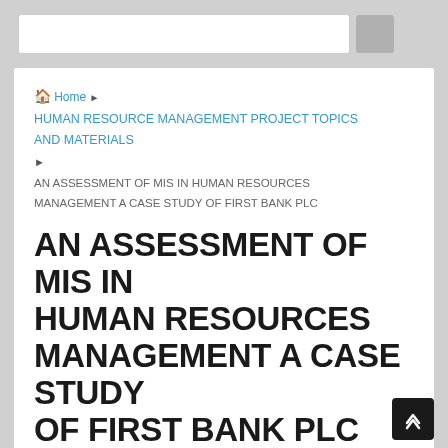[Search bar area]
🏠 Home ▶ HUMAN RESOURCE MANAGEMENT PROJECT TOPICS AND MATERIALS ▶ AN ASSESSMENT OF MIS IN HUMAN RESOURCES MANAGEMENT A CASE STUDY OF FIRST BANK PLC
AN ASSESSMENT OF MIS IN HUMAN RESOURCES MANAGEMENT A CASE STUDY OF FIRST BANK PLC
admin  September 16, 2016  HUMAN RESOURCE MANAGEMENT PROJECT TOPICS AND MATERIALS  No Comments